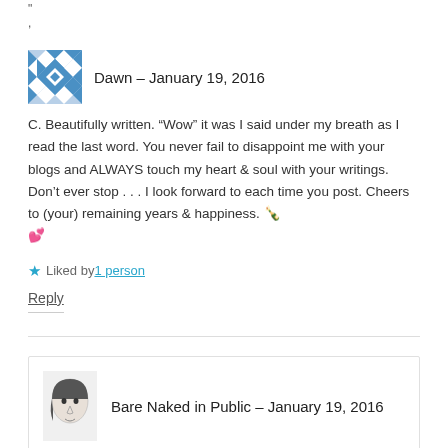"
,
Dawn – January 19, 2016
C. Beautifully written. “Wow” it was I said under my breath as I read the last word. You never fail to disappoint me with your blogs and ALWAYS touch my heart & soul with your writings. Don’t ever stop . . . I look forward to each time you post. Cheers to (your) remaining years & happiness. 🍾 💕
Liked by 1 person
Reply
Bare Naked in Public – January 19, 2016